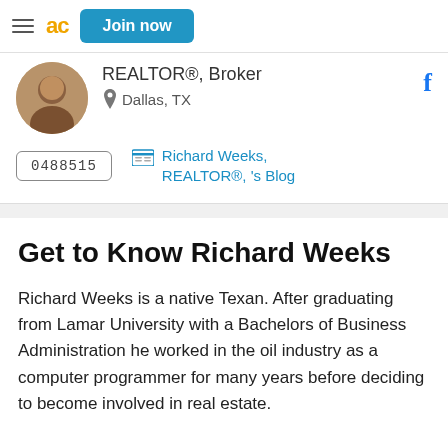Join now
REALTOR®, Broker
Dallas, TX
0488515
Richard Weeks, REALTOR®, 's Blog
Get to Know Richard Weeks
Richard Weeks is a native Texan. After graduating from Lamar University with a Bachelors of Business Administration he worked in the oil industry as a computer programmer for many years before deciding to become involved in real estate.